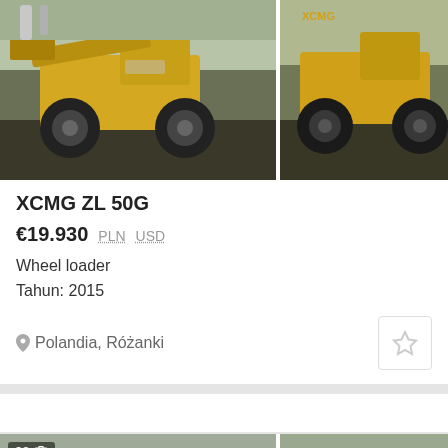[Figure (photo): Two wheel loader machines (XCMG ZL 50G) photographed from the side in a yard, plus partial third image cropped on the right edge.]
XCMG ZL 50G
€19.930  PLN  USD
Wheel loader
Tahun: 2015
Polandia, Różanki
[Figure (photo): Two photos of heavy machinery — left shows equipment near shipping containers with workers, right shows a tracked machine on a job site. A badge shows '38' photos and a camera icon.]